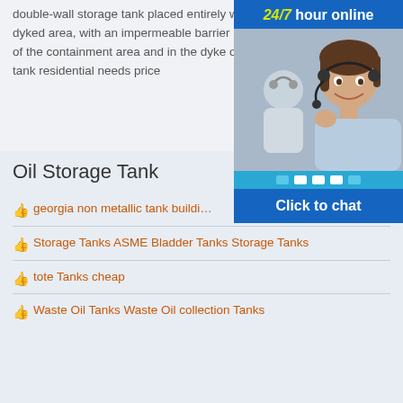double-wall storage tank placed entirely within a dyked area, with an impermeable barrier in the floor of the containment area and in the dyke oil storage tank residential needs price
[Figure (photo): Chat widget with '24/7 hour online' header in blue with yellow italic '24/7', a photo of a smiling woman with a headset, teal dots row, and 'Click to chat' button]
Oil Storage Tank
georgia non metallic tank buildi…
Storage Tanks ASME Bladder Tanks Storage Tanks
tote Tanks cheap
Waste Oil Tanks Waste Oil collection Tanks